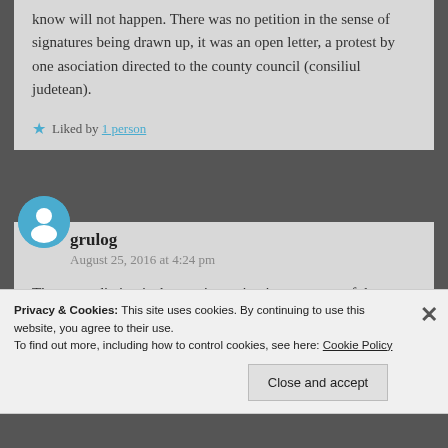know will not happen. There was no petition in the sense of signatures being drawn up, it was an open letter, a protest by one asociation directed to the county council (consiliul judetean).
★ Liked by 1 person
grulog
August 25, 2016 at 4:24 pm
The contradiction is that you're saying it was an act of the democratic process of your country. No such thing happened, it was an
Privacy & Cookies: This site uses cookies. By continuing to use this website, you agree to their use.
To find out more, including how to control cookies, see here: Cookie Policy
Close and accept